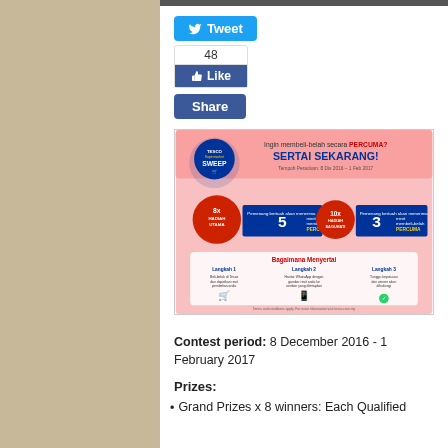[Figure (screenshot): Twitter Tweet button, Facebook like count (48), Like button, and Share button as social media widgets]
[Figure (illustration): Tesco Supermarket Sweepstake promotional banner in Malay. Heading: Ingin membeli-belah secara PERCUMA? SERTAI SEKARANG! Tempoh Peraduan: 8 Dis 2016 - 1 Feb 2017. Features 8x Hadiah Utama (5 minit membeli-belah PERCUMA) and 10x Hadiah Saguhati (3 minit membeli-belah PERCUMA). Section: Bagaimana Menyertai with Langkah 1, Langkah 2, Langkah 3 instructions.]
Contest period: 8 December 2016 - 1 February 2017
Prizes:
Grand Prizes x 8 winners: Each Qualified